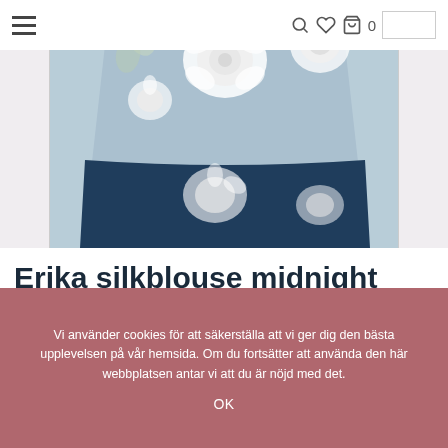≡  🔍 ♡ 🛍 0
[Figure (photo): Product photo of Erika silk blouse in midnight blue with white floral rose pattern, shown as a cropped bottom half of a blouse against a light background]
Erika silkblouse midnight blue
Vi använder cookies för att säkerställa att vi ger dig den bästa upplevelsen på vår hemsida. Om du fortsätter att använda den här webbplatsen antar vi att du är nöjd med det.
OK